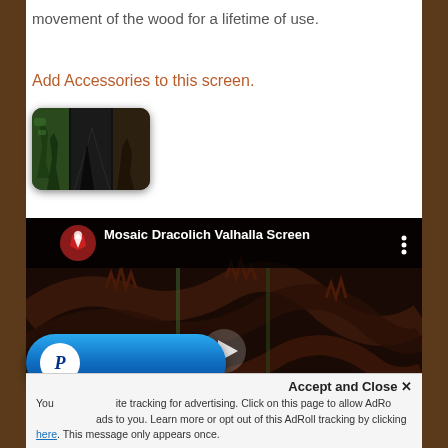movement of the wood for a lifetime of use.
Add Accessories to this screen.
[Figure (photo): Mosaic screen product thumbnail showing a dark multi-panel folding screen with dragon/forest imagery]
[Figure (screenshot): Embedded YouTube video player showing 'Mosaic Dracolich Valhalla Screen' with dragon artwork and channel icon]
[Figure (other): PayPal payment button (blue pill-shaped button with PayPal P logo)]
You use cross-site tracking for advertising. Click on this page to allow AdRoll to show ads to you. Learn more or opt out of this AdRoll tracking by clicking here. This message only appears once.
Accept and Close ✕